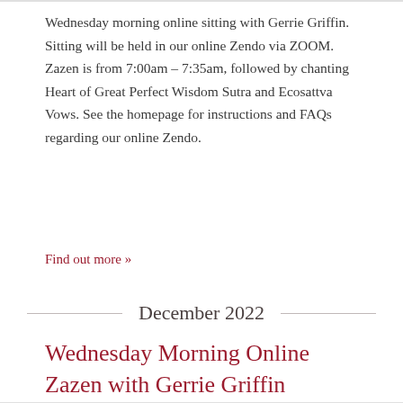Wednesday morning online sitting with Gerrie Griffin. Sitting will be held in our online Zendo via ZOOM. Zazen is from 7:00am – 7:35am, followed by chanting Heart of Great Perfect Wisdom Sutra and Ecosattva Vows. See the homepage for instructions and FAQs regarding our online Zendo.
Find out more »
December 2022
Wednesday Morning Online Zazen with Gerrie Griffin